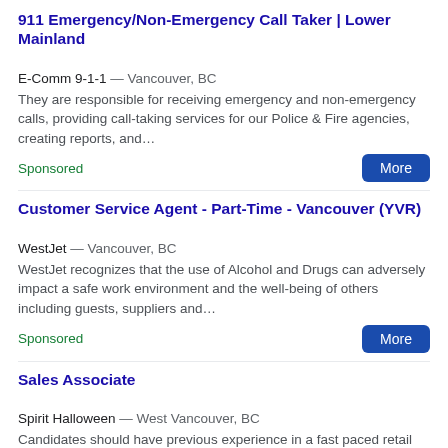911 Emergency/Non-Emergency Call Taker | Lower Mainland
E-Comm 9-1-1 — Vancouver, BC
They are responsible for receiving emergency and non-emergency calls, providing call-taking services for our Police & Fire agencies, creating reports, and…
Sponsored
Customer Service Agent - Part-Time - Vancouver (YVR)
WestJet — Vancouver, BC
WestJet recognizes that the use of Alcohol and Drugs can adversely impact a safe work environment and the well-being of others including guests, suppliers and…
Sponsored
Sales Associate
Spirit Halloween — West Vancouver, BC
Candidates should have previous experience in a fast paced retail environment, including interacting with customers and using the cash register/POS system.